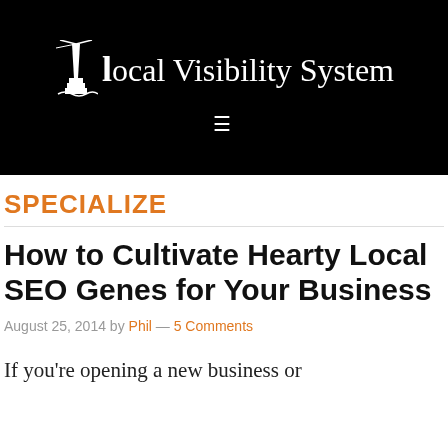Local Visibility System
SPECIALIZE
How to Cultivate Hearty Local SEO Genes for Your Business
August 25, 2014 by Phil — 5 Comments
If you're opening a new business or